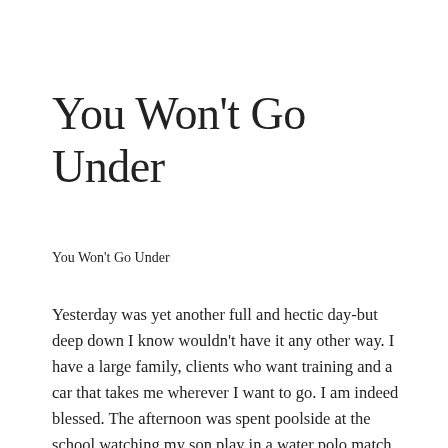You Won't Go Under
You Won't Go Under
Yesterday was yet another full and hectic day-but deep down I know wouldn't have it any other way. I have a large family, clients who want training and a car that takes me wherever I want to go. I am indeed blessed. The afternoon was spent poolside at the school watching my son play in a water polo match. Those boys swim back and forth and track that yellow ball as they attempt to shoot and score. Sometimes they get pulled at to keep them